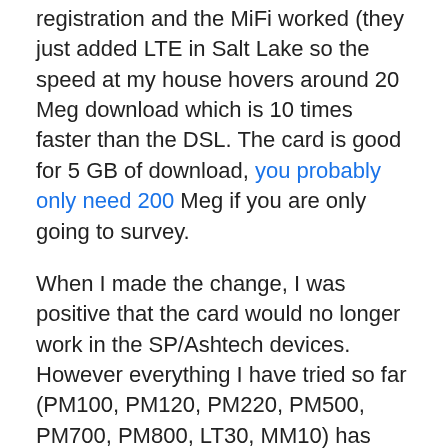registration and the MiFi worked (they just added LTE in Salt Lake so the speed at my house hovers around 20 Meg download which is 10 times faster than the DSL. The card is good for 5 GB of download, you probably only need 200 Meg if you are only going to survey.
When I made the change, I was positive that the card would no longer work in the SP/Ashtech devices. However everything I have tried so far (PM100, PM120, PM220, PM500, PM700, PM800, LT30, MM10) has worked just like before.
[I want to reiterate that the ATT Tech Support guy (who I probably should not name, but will) Aarron Lequia was simply-absolutely-amazing. He made the changes and then patiently waited for me to try the card in a 1/2 dozen devices, just in case I wanted to revert back to the old